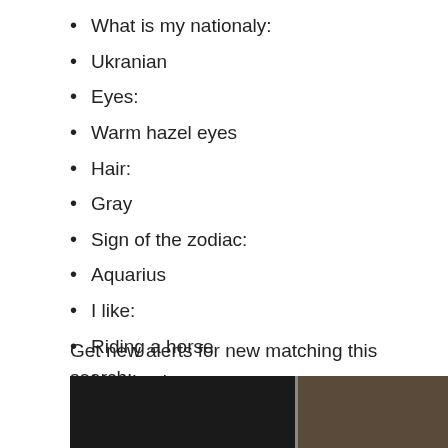What is my nationaly:
Ukranian
Eyes:
Warm hazel eyes
Hair:
Gray
Sign of the zodiac:
Aquarius
I like:
Riding a horse
My piercing:
None
Get new alerts for new matching this search:.
[Figure (photo): Two photos of people side by side at the bottom of the page]